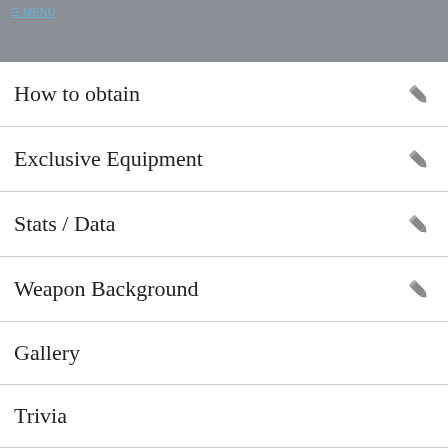[Figure (screenshot): Gray header bar with a link in the top left corner]
How to obtain
Exclusive Equipment
Stats / Data
Weapon Background
Gallery
Trivia